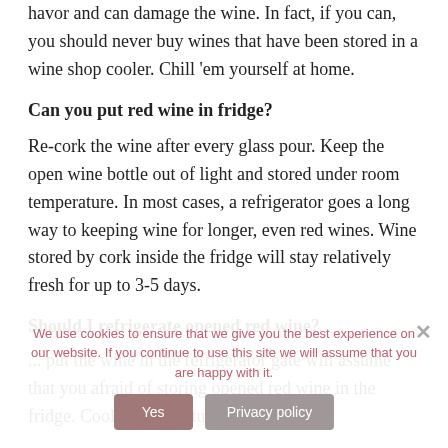havor and can damage the wine. In fact, if you can, you should never buy wines that have been stored in a wine shop cooler. Chill 'em yourself at home.
Can you put red wine in fridge?
Re-cork the wine after every glass pour. Keep the open wine bottle out of light and stored under room temperature. In most cases, a refrigerator goes a long way to keeping wine for longer, even red wines. Wine stored by cork inside the fridge will stay relatively fresh for up to 3-5 days.
Should I refrigerate opened red wine?
... put the wine in the refrigerator gate will assume that you afraid of storing opened red wine in the fridge. Cooler temperatures ... chemical
We use cookies to ensure that we give you the best experience on our website. If you continue to use this site we will assume that you are happy with it.